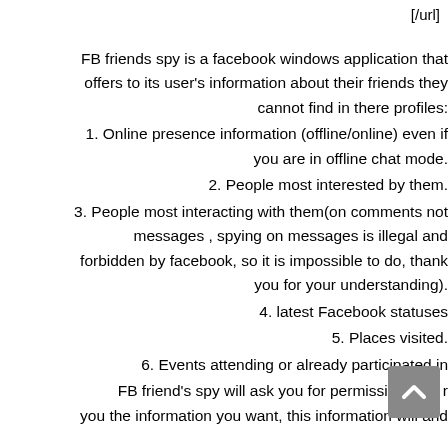[/url]
FB friends spy is a facebook windows application that offers to its user's information about their friends they cannot find in there profiles:
1. Online presence information (offline/online) even if you are in offline chat mode.
2. People most interested by them.
3. People most interacting with them(on comments not messages , spying on messages is illegal and forbidden by facebook, so it is impossible to do, thank you for your understanding).
4. latest Facebook statuses
5. Places visited.
6. Events attending or already participated in
FB friend's spy will ask you for permissions to r you the information you want, this information will and